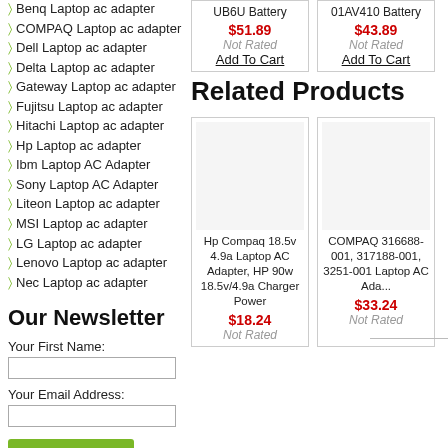Benq Laptop ac adapter
COMPAQ Laptop ac adapter
Dell Laptop ac adapter
Delta Laptop ac adapter
Gateway Laptop ac adapter
Fujitsu Laptop ac adapter
Hitachi Laptop ac adapter
Hp Laptop ac adapter
Ibm Laptop AC Adapter
Sony Laptop AC Adapter
Liteon Laptop ac adapter
MSI Laptop ac adapter
LG Laptop ac adapter
Lenovo Laptop ac adapter
Nec Laptop ac adapter
Our Newsletter
Your First Name:
Your Email Address:
subscribe me
UB6U Battery
$51.89
Not Rated
Add To Cart
01AV410 Battery
$43.89
Not Rated
Add To Cart
Related Products
Hp Compaq 18.5v 4.9a Laptop AC Adapter, HP 90w 18.5v/4.9a Charger Power
$18.24
Not Rated
COMPAQ 316688-001, 317188-001, 3251-001 Laptop AC Ada...
$33.24
Not Rated